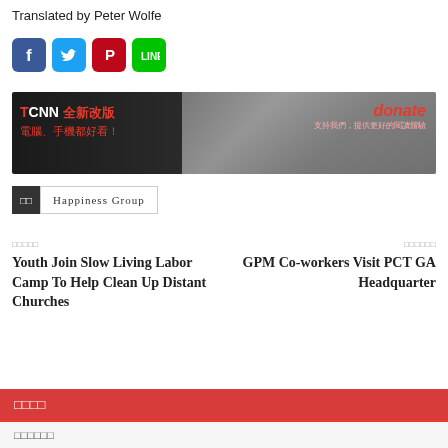Translated by Peter Wolfe
[Figure (infographic): Row of four social media icons: Facebook (blue), Twitter (light blue), Pinterest (red), LINE (green)]
[Figure (screenshot): TCNN website banner with keyboard background, red Chinese text 'TCNN 全新改版 電腦、手機都好看！' on left and 'donate' text on right with Chinese subtitle]
Happiness Group
□□□□□
□□□□□□
Youth Join Slow Living Labor Camp To Help Clean Up Distant Churches
GPM Co-workers Visit PCT GA Headquarter
□□□□
□□□□□□